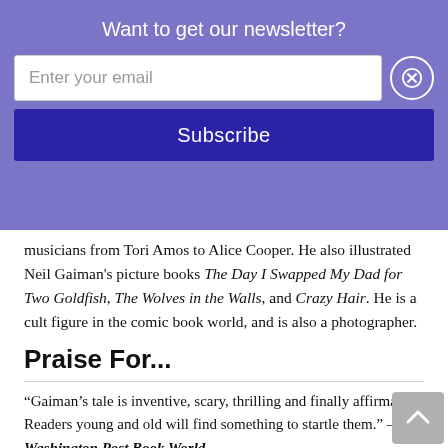Want to get our newsletter?
musicians from Tori Amos to Alice Cooper. He also illustrated Neil Gaiman's picture books The Day I Swapped My Dad for Two Goldfish, The Wolves in the Walls, and Crazy Hair. He is a cult figure in the comic book world, and is also a photographer.
Praise For...
“Gaiman’s tale is inventive, scary, thrilling and finally affirmative. Readers young and old will find something to startle them.” — Washington Post Book World
“A modern ghost story with all the creepy trimmings...Well done.” — New York Times Book Review